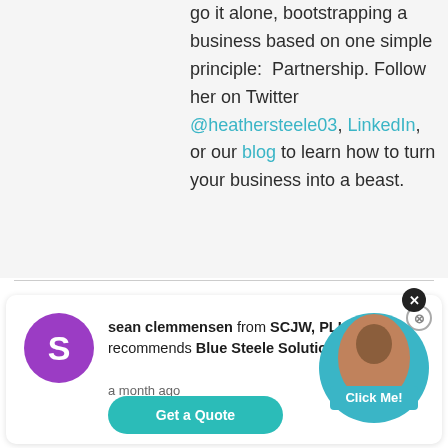go it alone, bootstrapping a business based on one simple principle:  Partnership. Follow her on Twitter @heathersteele03, LinkedIn, or our blog to learn how to turn your business into a beast.
sean clemmensen from SCJW, PLLC recommends Blue Steele Solutions
a month ago
★★★★★
[Figure (screenshot): Click Me! widget with a circular photo and Get a Quote button]